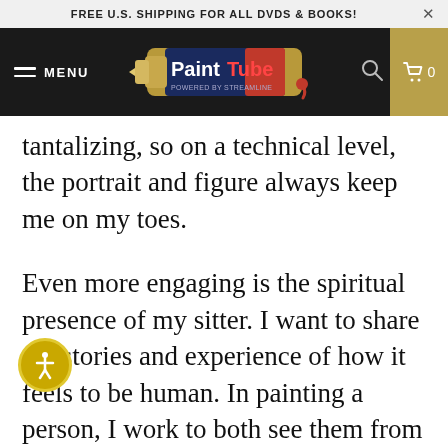FREE U.S. SHIPPING FOR ALL DVDS & BOOKS!
[Figure (logo): PaintTube logo with nav bar including hamburger menu, search icon, and cart]
tantalizing, so on a technical level, the portrait and figure always keep me on my toes.
Even more engaging is the spiritual presence of my sitter. I want to share the stories and experience of how it feels to be human. In painting a person, I work to both see them from the outside and draw them out from the inside. I want to know about their life, thoughts, energy, lues. If I can simply make a painting that s the depth of experience in a single life — that seems worthy of art.